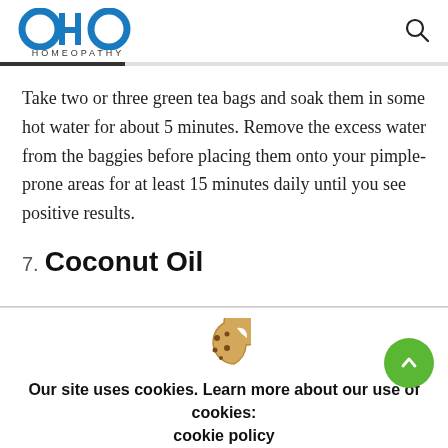OHO HOMEOPATHY
Take two or three green tea bags and soak them in some hot water for about 5 minutes. Remove the excess water from the baggies before placing them onto your pimple-prone areas for at least 15 minutes daily until you see positive results.
7. Coconut Oil
[Figure (illustration): Cookie icon - a cookie with a bite taken out and dots representing chocolate chips]
Our site uses cookies. Learn more about our use of cookies: cookie policy
ACCEPT   REJECT